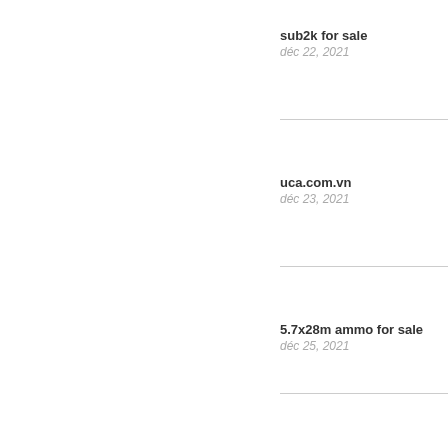sub2k for sale
déc 22, 2021
uca.com.vn
déc 23, 2021
5.7x28m ammo for sale
déc 25, 2021
souris gamer
déc 26, 2021